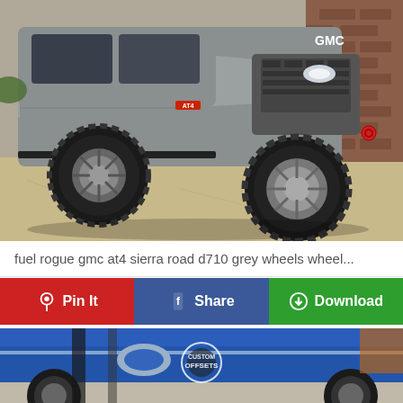[Figure (photo): Gray GMC Sierra AT4 pickup truck with lifted suspension, large mud-terrain tires, and custom Fuel Rogue D710 grey wheels, parked on a concrete surface next to a brick wall]
fuel rogue gmc at4 sierra road d710 grey wheels wheel...
[Figure (infographic): Social sharing button bar with three buttons: Pin It (red, Pinterest icon), Share (blue, Facebook icon), Download (green, download icon)]
[Figure (photo): Partial view of a blue vehicle with Custom Offsets watermark logo visible, showing wheels and body panels in a garage/showroom setting]